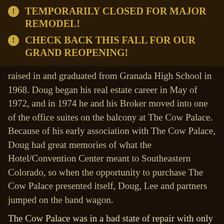TEMPORARILY CLOSED FOR MAJOR REMODEL!
CHECK BACK THIS FALL FOR OUR GRAND REOPENING!
raised in and graduated from Granada High School in 1968. Doug began his real estate career in May of 1972, and in 1974 he and his Broker moved into one of the office suites on the balcony at The Cow Palace. Because of his early association with The Cow Palace, Doug had great memories of what the Hotel/Convention Center meant to Southeastern Colorado, so when the opportunity to purchase The Cow Palace presented itself, Doug, Lee and partners jumped on the band wagon.
The Cow Palace was in a bad state of repair with only 38 out of 100 rooms available to rent, no operating restaurant or lounge and outdated beds